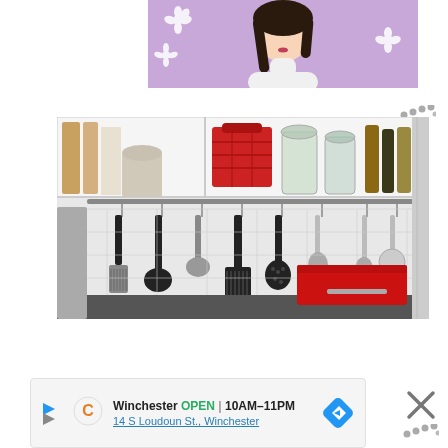[Figure (illustration): Anime-style illustration of a young woman in a white turtleneck sweater with long dark hair, on a purple background with white flower decorations]
[Figure (photo): Kitchen photo showing open white cabinet shelves with jars, a red basket, and various condiment bottles on top; below it a horizontal rail with hanging black and silver kitchen utensils (spatulas, ladles, slotted spoons); white subway tile backsplash; red bread box on dark countertop; gray refrigerator on right]
Winchester  OPEN | 10AM–11PM
14 S Loudoun St., Winchester